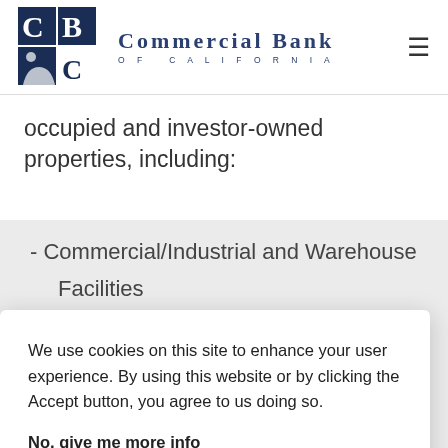Commercial Bank of California
occupied and investor-owned properties, including:
- Commercial/Industrial and Warehouse Facilities
We use cookies on this site to enhance your user experience. By using this website or by clicking the Accept button, you agree to us doing so.
No, give me more info
OK, I agree